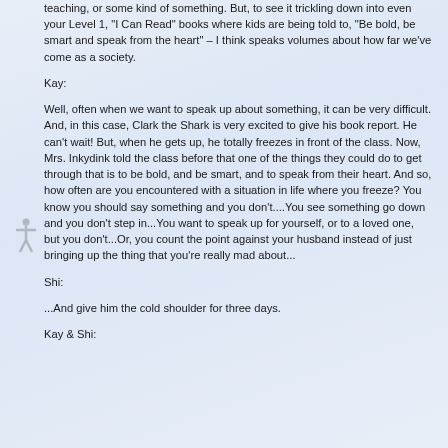teaching, or some kind of something. But, to see it trickling down into even your Level 1, "I Can Read" books where kids are being told to, "Be bold, be smart and speak from the heart" – I think speaks volumes about how far we've come as a society.
Kay:
Well, often when we want to speak up about something, it can be very difficult. And, in this case, Clark the Shark is very excited to give his book report. He can't wait! But, when he gets up, he totally freezes in front of the class. Now, Mrs. Inkydink told the class before that one of the things they could do to get through that is to be bold, and be smart, and to speak from their heart. And so, how often are you encountered with a situation in life where you freeze? You know you should say something and you don't....You see something go down and you don't step in...You want to speak up for yourself, or to a loved one, but you don't...Or, you count the point against your husband instead of just bringing up the thing that you're really mad about...
Shi:
...And give him the cold shoulder for three days.
Kay & Shi: